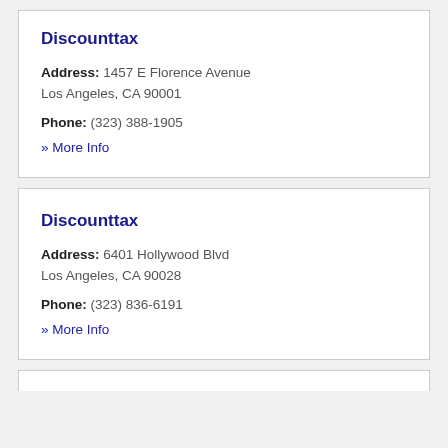Discounttax
Address: 1457 E Florence Avenue
Los Angeles, CA 90001
Phone: (323) 388-1905
» More Info
Discounttax
Address: 6401 Hollywood Blvd
Los Angeles, CA 90028
Phone: (323) 836-6191
» More Info